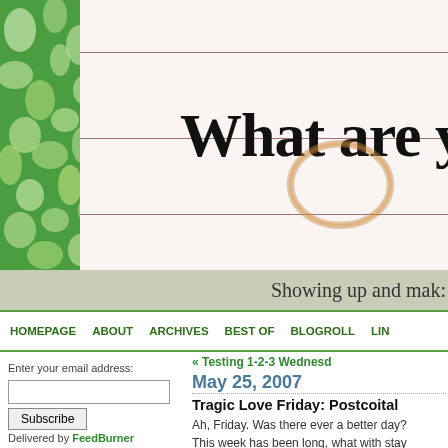[Figure (photo): Blog header image showing a green marbled notebook on the left and lined paper with the text 'What are you le' visible, plus a coffee ring stain on the paper]
Showing up and mak:
HOMEPAGE   ABOUT   ARCHIVES   BEST OF   BLOGROLL   LIN
Enter your email address:
Subscribe
Delivered by FeedBurner
SEARCH
« Testing 1-2-3 Wednesd
May 25, 2007
Tragic Love Friday: Postcoital
Ah, Friday. Was there ever a better day?
This week has been long, what with stay